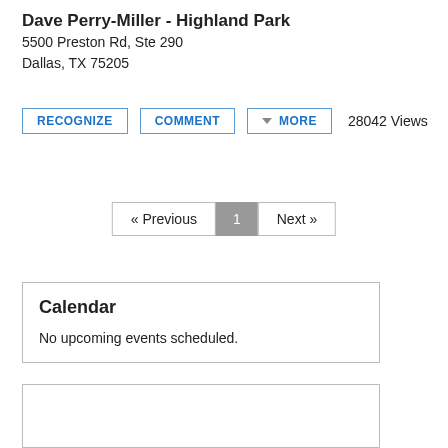Dave Perry-Miller - Highland Park
5500 Preston Rd, Ste 290
Dallas, TX 75205
RECOGNIZE  COMMENT  ▼ MORE  28042 Views
« Previous  1  Next »
Calendar
No upcoming events scheduled.